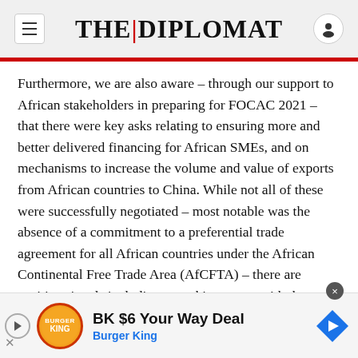THE DIPLOMAT
Furthermore, we are also aware – through our support to African stakeholders in preparing for FOCAC 2021 – that there were key asks relating to ensuring more and better delivered financing for African SMEs, and on mechanisms to increase the volume and value of exports from African countries to China. While not all of these were successfully negotiated – most notable was the absence of a commitment to a preferential trade agreement for all African countries under the African Continental Free Trade Area (AfCFTA) – there are positive signals including a working group with the AfCFTA
[Figure (other): Burger King advertisement banner: BK $6 Your Way Deal, Burger King]